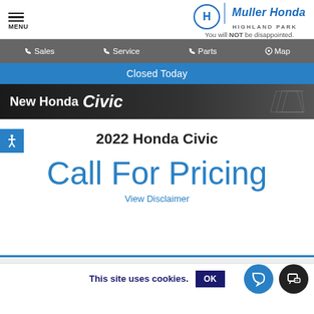[Figure (logo): Muller Honda Highland Park logo with Honda wing emblem and tagline 'You will NOT be disappointed.']
MENU | Sales | Service | Parts | Map
Closed Today
[Figure (screenshot): New Honda Civic banner image on dark background]
2022 Honda Civic
Call For Pricing
View Disclaimer
This site uses cookies.